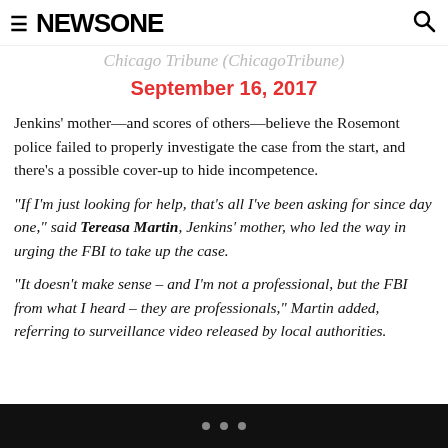NEWSONE
Chicago Tribune (ChicagoTribune)
September 16, 2017
Jenkins' mother—and scores of others—believe the Rosemont police failed to properly investigate the case from the start, and there's a possible cover-up to hide incompetence.
“If I’m just looking for help, that’s all I’ve been asking for since day one,” said Tereasa Martin, Jenkins’ mother, who led the way in urging the FBI to take up the case.
“It doesn’t make sense – and I’m not a professional, but the FBI from what I heard – they are professionals,” Martin added, referring to surveillance video released by local authorities.